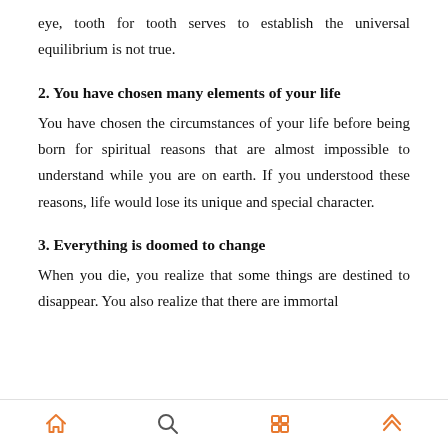eye, tooth for tooth serves to establish the universal equilibrium is not true.
2. You have chosen many elements of your life
You have chosen the circumstances of your life before being born for spiritual reasons that are almost impossible to understand while you are on earth. If you understood these reasons, life would lose its unique and special character.
3. Everything is doomed to change
When you die, you realize that some things are destined to disappear. You also realize that there are immortal
Home | Search | Apps | Up